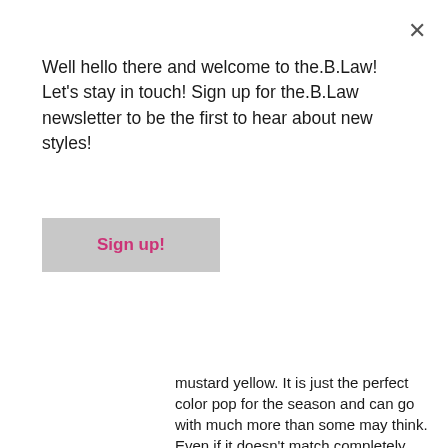Well hello there and welcome to the.B.Law! Let's stay in touch! Sign up for the.B.Law newsletter to be the first to hear about new styles!
Sign up!
mustard yellow. It is just the perfect color pop for the season and can go with much more than some may think. Even if it doesn't match completely there are still ways to tie it in, one of my faves is with navy.
I went through a period of thinking I couldn't wear mustard anymore with red hair. I felt like I would be a